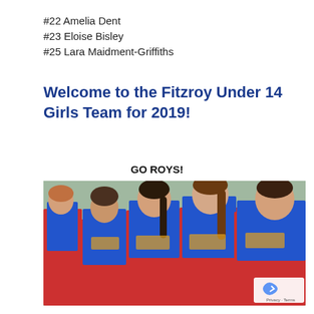#22 Amelia Dent
#23 Eloise Bisley
#25 Lara Maidment-Griffiths
Welcome to the Fitzroy Under 14 Girls Team for 2019!
GO ROYS!
[Figure (photo): Girls in blue and red Fitzroy AFL jerseys, likely the Fitzroy Under 14 Girls Team, standing together outdoors.]